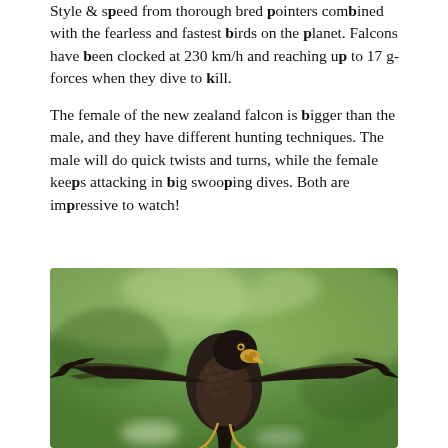Style & speed from thorough bred pointers combined with the fearless and fastest birds on the planet. Falcons have been clocked at 230 km/h and reaching up to 17 g-forces when they dive to kill.
The female of the new zealand falcon is bigger than the male, and they have different hunting techniques. The male will do quick twists and turns, while the female keeps attacking in big swooping dives. Both are impressive to watch!
[Figure (photo): A New Zealand falcon (kārearea) in flight, wings spread, dark brown plumage with scaled feather pattern, beak open slightly, against a blurred green background.]